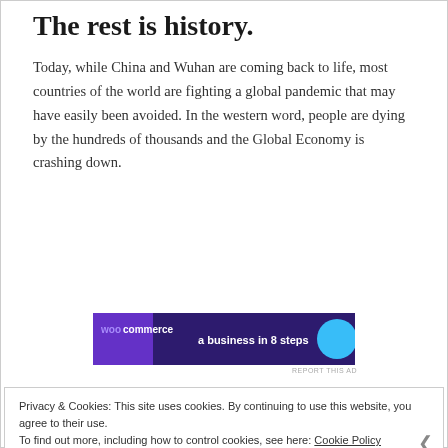The rest is history.
Today, while China and Wuhan are coming back to life, most countries of the world are fighting a global pandemic that may have easily been avoided. In the western word, people are dying by the hundreds of thousands and the Global Economy is crashing down.
[Figure (other): WooCommerce advertisement banner: 'a business in 8 steps']
REPORT THIS AD
Privacy & Cookies: This site uses cookies. By continuing to use this website, you agree to their use.
To find out more, including how to control cookies, see here: Cookie Policy
Close and accept